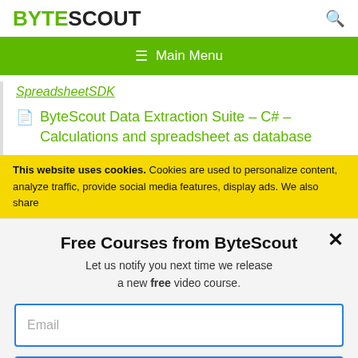BYTESCOUT
☰  Main Menu
SpreadsheetSDK
🗎 ByteScout Data Extraction Suite – C# – Calculations and spreadsheet as database
This website uses cookies. Cookies are used to personalize content, analyze traffic, provide social media features, display ads. We also share
Free Courses from ByteScout
Let us notify you next time we release a new free video course.
Email
SUBSCRIBE